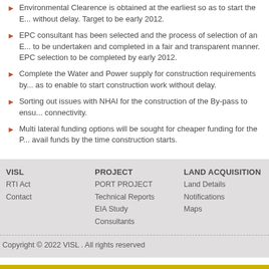Environmental Clearence is obtained at the earliest so as to start the E... without delay. Target to be early 2012.
EPC consultant has been selected and the process of selection of an E... to be undertaken and completed in a fair and transparent manner. EPC selection to be completed by early 2012.
Complete the Water and Power supply for construction requirements by... as to enable to start construction work without delay.
Sorting out issues with NHAI for the construction of the By-pass to ensu... connectivity.
Multi lateral funding options will be sought for cheaper funding for the P... avail funds by the time construction starts.
VISL
RTI Act
Contact

PROJECT
PORT PROJECT
Technical Reports
EIA Study
Consultants

LAND ACQUISITION
Land Details
Notifications
Maps
Copyright © 2022 VISL . All rights reserved